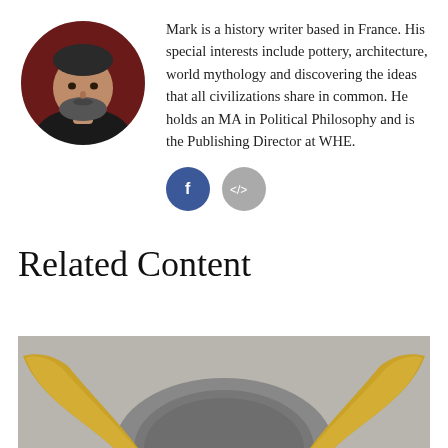[Figure (photo): Circular cropped headshot of a middle-aged bearded man wearing a dark top, with a dark reddish background.]
Mark is a history writer based in France. His special interests include pottery, architecture, world mythology and discovering the ideas that all civilizations share in common. He holds an MA in Political Philosophy and is the Publishing Director at WHE.
[Figure (infographic): Two circular social media icon buttons: a blue Facebook icon (f) and a grey embed/code icon (</>).]
Related Content
[Figure (photo): Bottom portion of an artifact with golden horns and a grey textured central piece, partially visible at the bottom of the page.]